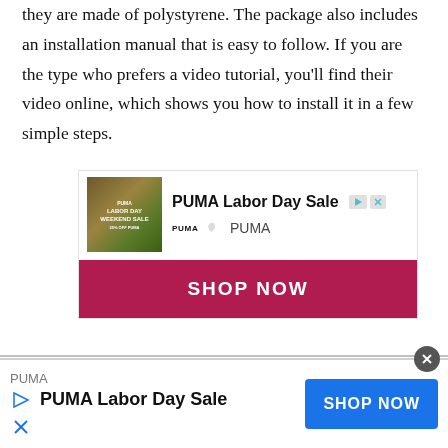they are made of polystyrene. The package also includes an installation manual that is easy to follow. If you are the type who prefers a video tutorial, you'll find their video online, which shows you how to install it in a few simple steps.
[Figure (advertisement): PUMA Labor Day Sale advertisement with image of people, PUMA logo, and SHOP NOW button in dark red]
[Figure (advertisement): Bottom banner ad for PUMA Labor Day Sale with SHOP NOW button in blue]